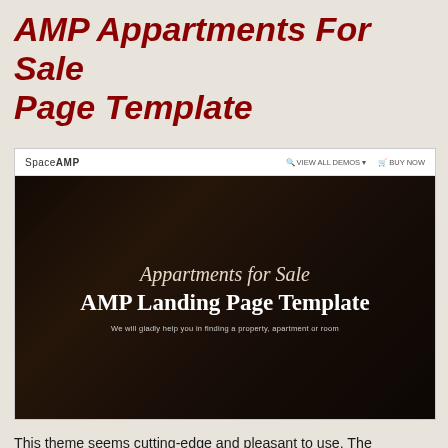AMP Appartments For Sale Page Template
[Figure (screenshot): Screenshot of a website template showing SpaceAMP navigation bar and a dark hero banner with text 'Appartments for Sale AMP Landing Page Template' and subtitle 'We will gladly help you in finding a property, apartment or room']
This theme seems cutting-edge and pleasant to use. The compilation of its elements makes this simple to understand and employ.
Free Download